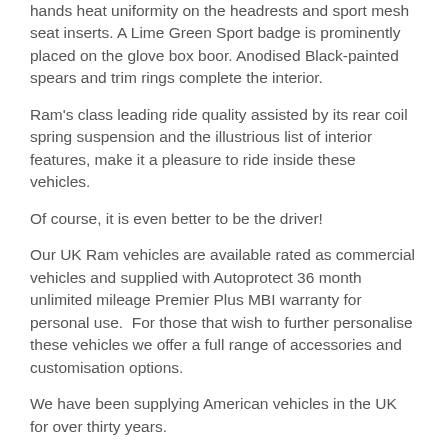hands heat uniformity on the headrests and sport mesh seat inserts. A Lime Green Sport badge is prominently placed on the glove box boor. Anodised Black-painted spears and trim rings complete the interior.
Ram's class leading ride quality assisted by its rear coil spring suspension and the illustrious list of interior features, make it a pleasure to ride inside these vehicles.
Of course, it is even better to be the driver!
Our UK Ram vehicles are available rated as commercial vehicles and supplied with Autoprotect 36 month unlimited mileage Premier Plus MBI warranty for personal use.  For those that wish to further personalise these vehicles we offer a full range of accessories and customisation options.
We have been supplying American vehicles in the UK for over thirty years.
Finance packages (Authorised and Regulated by FCA) are available and part exchanges are welcome. We offer full